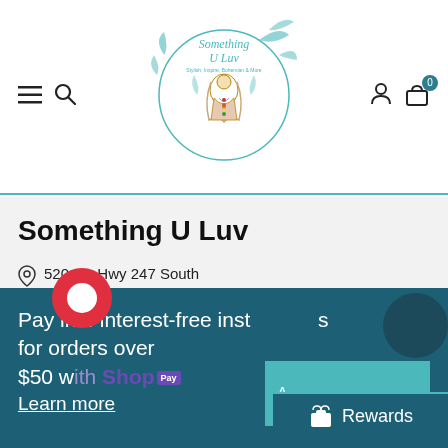Something U Luv — website header with navigation icons and logo
Something U Luv
520 Ga Hwy 247 South
Ste. 401-#97
Bonaire, GA 31005 USA
SomethingULuv@gmail.com
Pay in 4 interest-free installments for orders over $50 with Shop Pay
Learn more